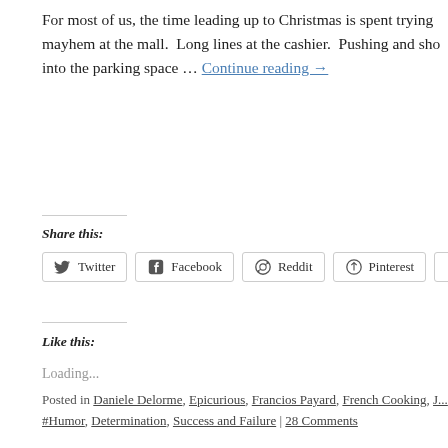For most of us, the time leading up to Christmas is spent trying mayhem at the mall.  Long lines at the cashier.  Pushing and sho into the parking space … Continue reading →
Share this:
Twitter  Facebook  Reddit  Pinterest  Print
Like this:
Loading...
Posted in Daniele Delorme, Epicurious, Francios Payard, French Cooking, J... #Humor, Determination, Success and Failure | 28 Comments